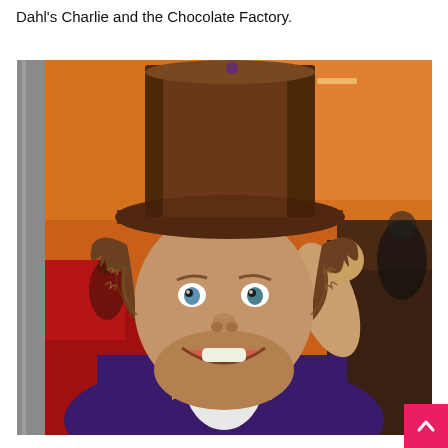Dahl's Charlie and the Chocolate Factory.
[Figure (photo): A person dressed as Willy Wonka wearing a tall brown top hat, curly brown wig, purple jacket, and large gold bow tie, posing at what appears to be a chocolate or confectionery event with orange-lit background.]